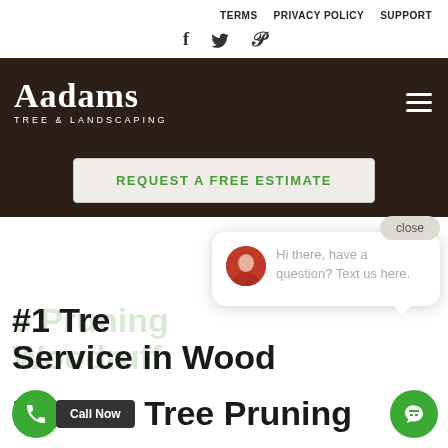TERMS    PRIVACY POLICY    SUPPORT
[Figure (infographic): Social media icons: Facebook (f), Twitter (bird), Pinterest (p)]
Aadams TREE & LANDSCAPING
REQUEST A FREE ESTIMATE
close
[Figure (illustration): Chat popup with avatar photo of a woman, text: Hi there, have a question? Text us here.]
#1 Tree Pruning Service in Woodruff
he Best Tree Pruning Service...
Call Now